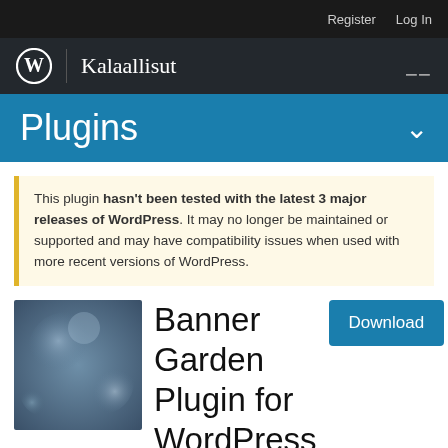Register   Log In
Kalaallisut
Plugins
This plugin hasn't been tested with the latest 3 major releases of WordPress. It may no longer be maintained or supported and may have compatibility issues when used with more recent versions of WordPress.
[Figure (illustration): Blurred bokeh style plugin thumbnail image in dark steel blue tones]
Banner Garden Plugin for WordPress
By Ferenc Vasóczki